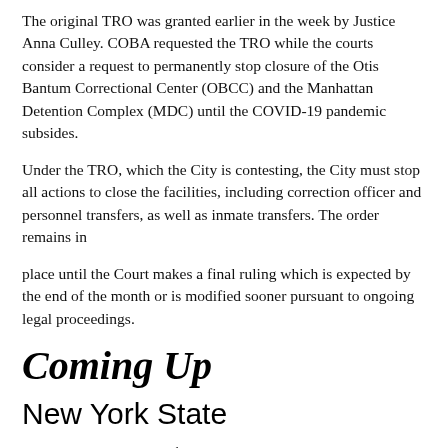The original TRO was granted earlier in the week by Justice Anna Culley. COBA requested the TRO while the courts consider a request to permanently stop closure of the Otis Bantum Correctional Center (OBCC) and the Manhattan Detention Complex (MDC) until the COVID-19 pandemic subsides.
Under the TRO, which the City is contesting, the City must stop all actions to close the facilities, including correction officer and personnel transfers, as well as inmate transfers. The order remains in
place until the Court makes a final ruling which is expected by the end of the month or is modified sooner pursuant to ongoing legal proceedings.
Coming Up
New York State
Thursday, November 19th
Assembly Committee on Libraries and Education Technology, Virtual Hearing, 10 a.m. COVID-19 and